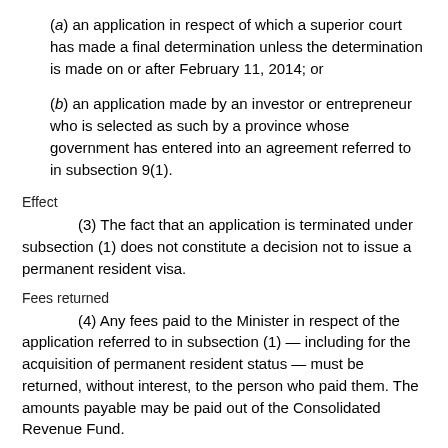(a) an application in respect of which a superior court has made a final determination unless the determination is made on or after February 11, 2014; or
(b) an application made by an investor or entrepreneur who is selected as such by a province whose government has entered into an agreement referred to in subsection 9(1).
Effect
(3) The fact that an application is terminated under subsection (1) does not constitute a decision not to issue a permanent resident visa.
Fees returned
(4) Any fees paid to the Minister in respect of the application referred to in subsection (1) — including for the acquisition of permanent resident status — must be returned, without interest, to the person who paid them. The amounts payable may be paid out of the Consolidated Revenue Fund.
Investment returned
(5) If an application for a permanent resident visa as a member of the prescribed class of investors is terminated